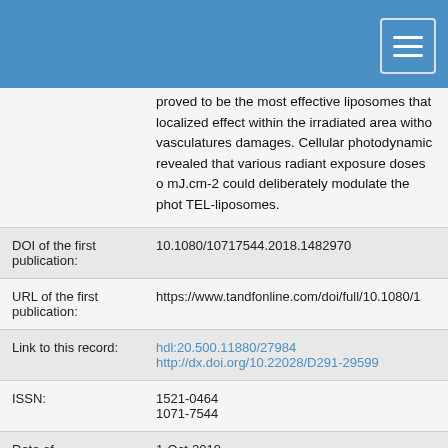proved to be the most effective liposomes that localized effect within the irradiated area without vasculatures damages. Cellular photodynamic revealed that various radiant exposure doses of mJ.cm-2 could deliberately modulate the photo TEL-liposomes.
| DOI of the first publication: | 10.1080/10717544.2018.1482970 |
| URL of the first publication: | https://www.tandfonline.com/doi/full/10.1080/1... |
| Link to this record: | hdl:20.500.11880/27984
http://dx.doi.org/10.22028/D291-29599 |
| ISSN: | 1521-0464
1071-7544 |
| Date of | 1-Oct-2019 |